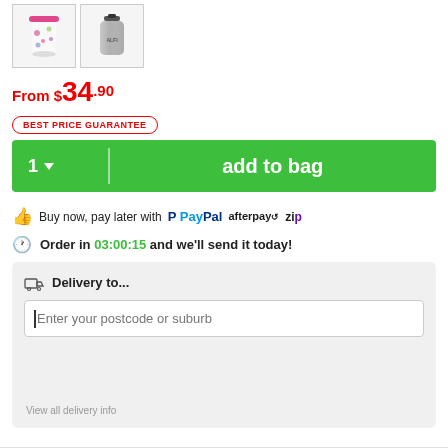[Figure (photo): Two product thumbnail images: a colorful water bottle with pink lid and a stainless steel thermos]
From $34.90
BEST PRICE GUARANTEE
1 ∨  add to bag
Buy now, pay later with PayPal afterpay zip
Order in 03:00:15 and we'll send it today!
Delivery to...
Enter your postcode or suburb
View all delivery info